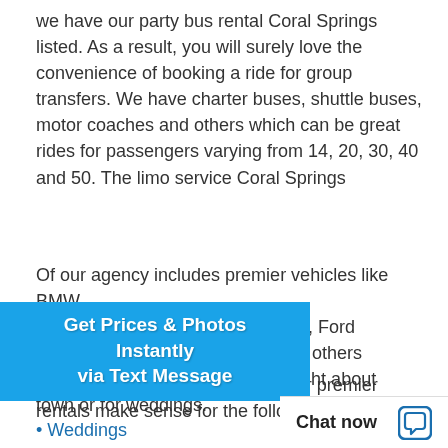we have our party bus rental Coral Springs listed. As a result, you will surely love the convenience of booking a ride for group transfers. We have charter buses, shuttle buses, motor coaches and others which can be great rides for passengers varying from 14, 20, 30, 40 and 50. The limo service Coral Springs
[Figure (infographic): Blue CTA banner with text: Get Prices & Photos Instantly via Text Message]
Of our agency includes premier vehicles like BMW, ... Escalade, Lexus, Ford ... Hummer limos and others ... al occasions like night about town or for weddings.
Special occasions
The rides that we offer through our premier rentals make sense for the following occasions:
Weddings
[Figure (infographic): Chat now bar at bottom with chat bubble icon]